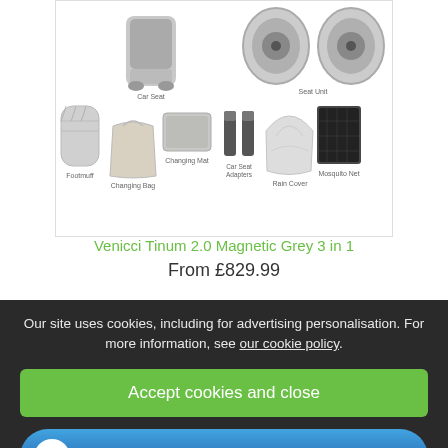[Figure (illustration): Product accessories grid showing: Car Seat, Seat Unit (top row), Footmuff, Changing Bag, Changing Mat, Car Seat Adapters, Rain Cover, Mosquito Net (bottom row)]
Venicci Tinum 2.0 Magnetic Grey 3 in 1
From £829.99
Our site uses cookies, including for advertising personalisation. For more information, see our cookie policy.
Accept cookies and close